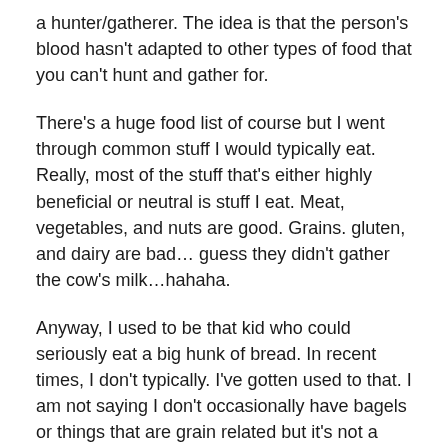a hunter/gatherer. The idea is that the person's blood hasn't adapted to other types of food that you can't hunt and gather for.
There's a huge food list of course but I went through common stuff I would typically eat. Really, most of the stuff that's either highly beneficial or neutral is stuff I eat. Meat, vegetables, and nuts are good. Grains. gluten, and dairy are bad… guess they didn't gather the cow's milk…hahaha.
Anyway, I used to be that kid who could seriously eat a big hunk of bread. In recent times, I don't typically. I've gotten used to that. I am not saying I don't occasionally have bagels or things that are grain related but it's not a part of my routine and hasn't been for many years now. Ok that's fine. Not really good on lots of diets anyway. I